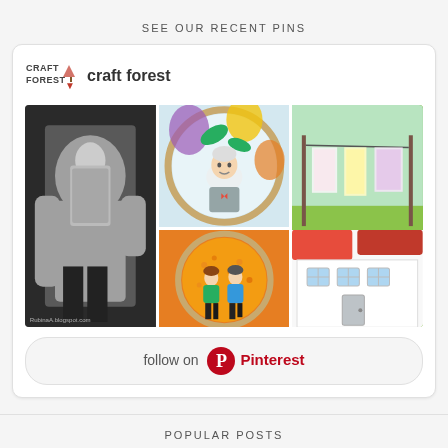SEE OUR RECENT PINS
[Figure (screenshot): Pinterest widget showing craft forest profile with 6 craft/textile images in a grid layout and a follow on Pinterest button]
POPULAR POSTS
[Figure (photo): Green fabric/clothing item, partially visible at bottom of page]